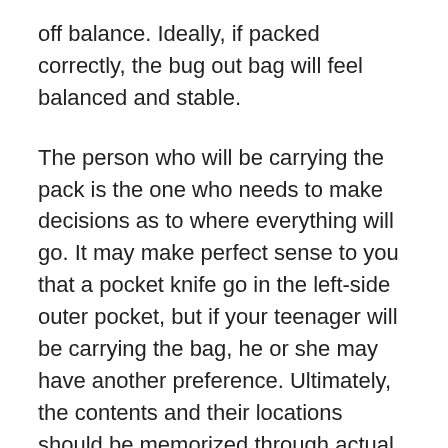off balance. Ideally, if packed correctly, the bug out bag will feel balanced and stable.
The person who will be carrying the pack is the one who needs to make decisions as to where everything will go. It may make perfect sense to you that a pocket knife go in the left-side outer pocket, but if your teenager will be carrying the bag, he or she may have another preference. Ultimately, the contents and their locations should be memorized through actual use or an occasional session of